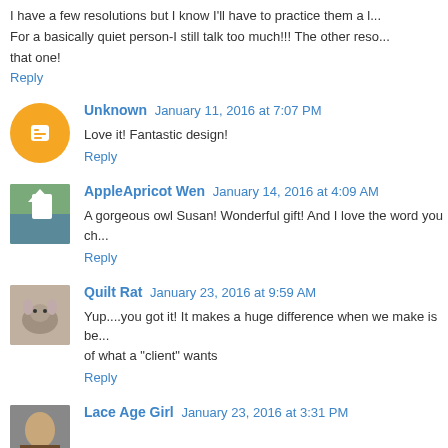I have a few resolutions but I know I'll have to practice them a l... For a basically quiet person-I still talk too much!!! The other reso... that one!
Reply
Unknown   January 11, 2016 at 7:07 PM
Love it! Fantastic design!
Reply
AppleApricot Wen   January 14, 2016 at 4:09 AM
A gorgeous owl Susan! Wonderful gift! And I love the word you ch...
Reply
Quilt Rat   January 23, 2016 at 9:59 AM
Yup....you got it! It makes a huge difference when we make is be... of what a "client" wants
Reply
Lace Age Girl   January 23, 2016 at 3:31 PM